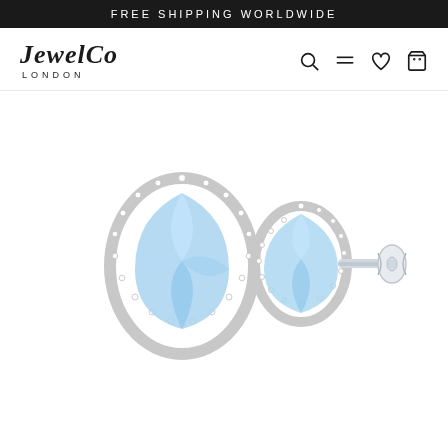FREE SHIPPING WORLDWIDE
[Figure (logo): JewelCo London logo in serif font]
[Figure (photo): Two pear-shaped aquamarine blue gemstone stud earrings with diamond halo in silver setting, shown front and side view]